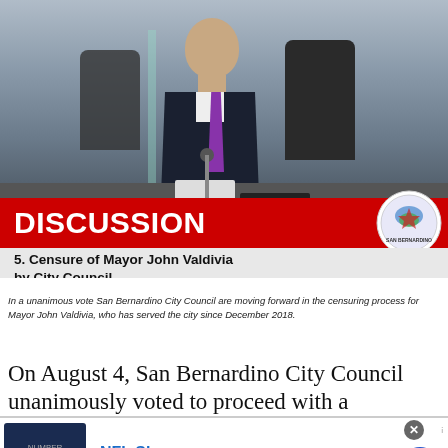[Figure (photo): Screenshot of a city council meeting showing a man in a dark suit with purple tie speaking at a podium with a microphone. A red banner overlay reads 'DISCUSSION' and below it a white bar reads '5. Censure of Mayor John Valdivia by City Council'. A municipal seal is visible in the top-right of the banner.]
In a unanimous vote San Bernardino City Council are moving forward in the censuring process for Mayor John Valdivia, who has served the city since December 2018.
On August 4, San Bernardino City Council unanimously voted to proceed with a resolution
[Figure (screenshot): Advertisement for NFL Shop showing a Dallas Cowboys jersey with number 1, text 'NFL Shop', 'Free shipping on orders over $25', 'www.nflshop.com', and a blue circular arrow button.]